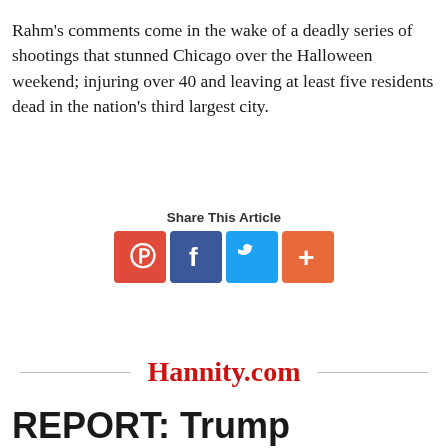Rahm's comments come in the wake of a deadly series of shootings that stunned Chicago over the Halloween weekend; injuring over 40 and leaving at least five residents dead in the nation's third largest city.
[Figure (infographic): Share This Article section with four social media icon buttons: Parler (red), Facebook (blue), Twitter (light blue), More/Plus (orange)]
[Figure (logo): Hannity.com logo in red text between two horizontal divider lines]
REPORT: Trump Planning